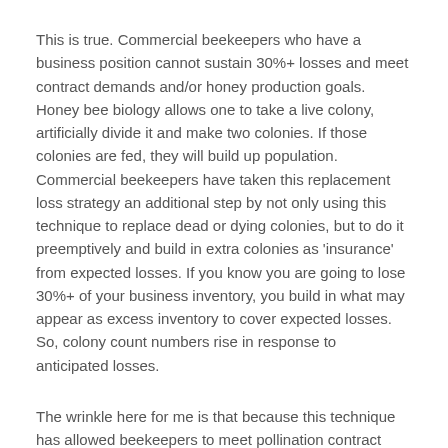This is true. Commercial beekeepers who have a business position cannot sustain 30%+ losses and meet contract demands and/or honey production goals. Honey bee biology allows one to take a live colony, artificially divide it and make two colonies. If those colonies are fed, they will build up population. Commercial beekeepers have taken this replacement loss strategy an additional step by not only using this technique to replace dead or dying colonies, but to do it preemptively and build in extra colonies as 'insurance' from expected losses. If you know you are going to lose 30%+ of your business inventory, you build in what may appear as excess inventory to cover expected losses. So, colony count numbers rise in response to anticipated losses.
The wrinkle here for me is that because this technique has allowed beekeepers to meet pollination contract requirements and the grower gets the results yield they require, honey bees are looked on as a production overhead–no different than irrigation, fertilizer, crop protection tools, harvesting, etc.